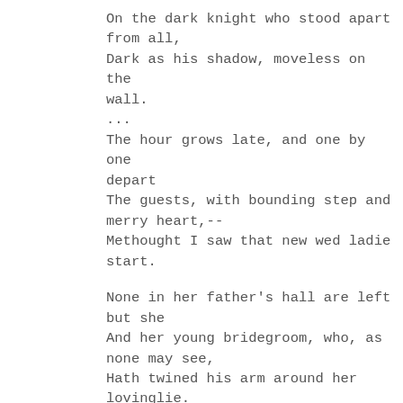On the dark knight who stood apart from all,
Dark as his shadow, moveless on the wall.
...
The hour grows late, and one by one depart
The guests, with bounding step and merry heart,--
Methought I saw that new wed ladie start.
None in her father's hall are left but she
And her young bridegroom, who, as none may see,
Hath twined his arm around her lovinglie.
Yes, there is still a third,--the vizor'd knight,--
...